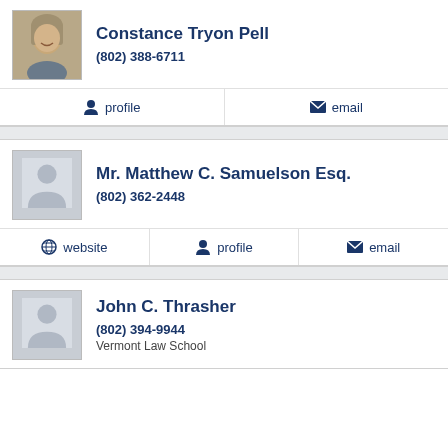[Figure (photo): Profile photo of Constance Tryon Pell, a woman with blonde-gray hair, smiling]
Constance Tryon Pell
(802) 388-6711
profile
email
[Figure (illustration): Generic placeholder silhouette avatar for Mr. Matthew C. Samuelson Esq.]
Mr. Matthew C. Samuelson Esq.
(802) 362-2448
website
profile
email
[Figure (illustration): Generic placeholder silhouette avatar for John C. Thrasher]
John C. Thrasher
(802) 394-9944
Vermont Law School